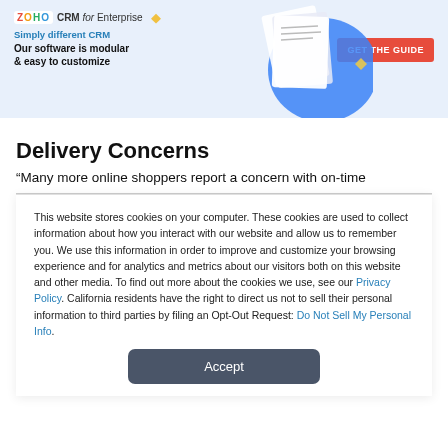[Figure (screenshot): ZOHO CRM for Enterprise advertisement banner with logo, tagline 'Simply different CRM', headline 'Our software is modular & easy to customize', GET THE GUIDE button, and decorative document images]
Delivery Concerns
“Many more online shoppers report a concern with on-time
This website stores cookies on your computer. These cookies are used to collect information about how you interact with our website and allow us to remember you. We use this information in order to improve and customize your browsing experience and for analytics and metrics about our visitors both on this website and other media. To find out more about the cookies we use, see our Privacy Policy. California residents have the right to direct us not to sell their personal information to third parties by filing an Opt-Out Request: Do Not Sell My Personal Info.
Accept